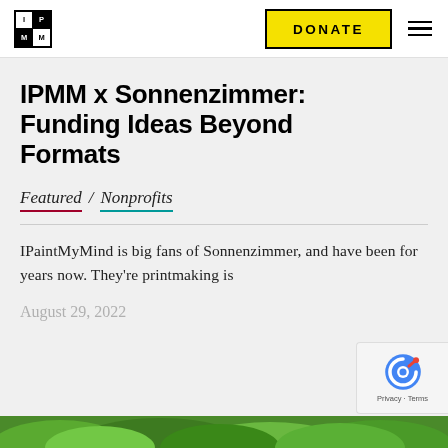[Figure (logo): IPMM logo: 2x2 grid of cells with letters I, P, M, M; alternating black and white squares]
[Figure (other): Yellow DONATE button with bold uppercase text and black border]
IPMM x Sonnenzimmer: Funding Ideas Beyond Formats
Featured / Nonprofits
IPaintMyMind is big fans of Sonnenzimmer, and have been for years now. They're printmaking is
August 29, 2022
[Figure (photo): Bottom strip showing green tree foliage / outdoor scene]